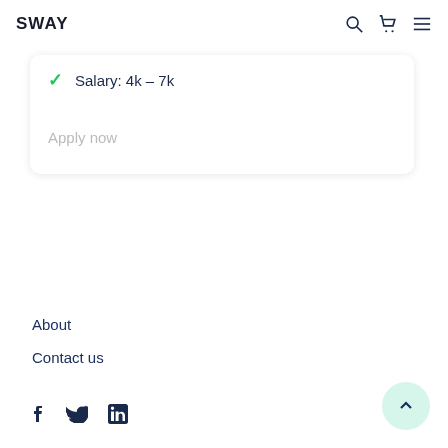SWAY
Salary: 4k – 7k
Apply now
About
Contact us
[Figure (other): Social media icons: Facebook, Twitter, LinkedIn]
[Figure (other): Scroll to top button with upward chevron]